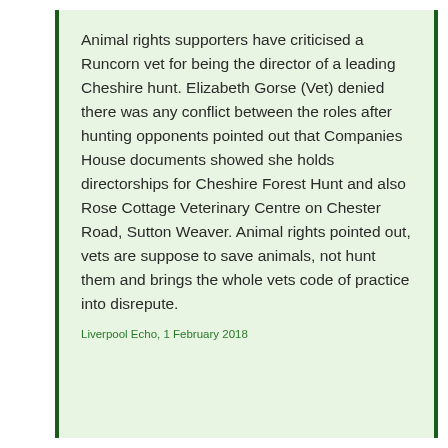Animal rights supporters have criticised a Runcorn vet for being the director of a leading Cheshire hunt. Elizabeth Gorse (Vet) denied there was any conflict between the roles after hunting opponents pointed out that Companies House documents showed she holds directorships for Cheshire Forest Hunt and also Rose Cottage Veterinary Centre on Chester Road, Sutton Weaver. Animal rights pointed out, vets are suppose to save animals, not hunt them and brings the whole vets code of practice into disrepute.
Liverpool Echo, 1 February 2018